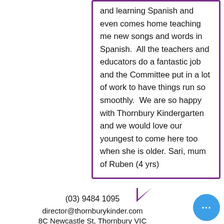and learning Spanish and even comes home teaching me new songs and words in Spanish.  All the teachers and educators do a fantastic job and the Committee put in a lot of work to have things run so smoothly.  We are so happy with Thornbury Kindergarten and we would love our youngest to come here too when she is older.  Sari, mum of Ruben (4 yrs)
(03) 9484 1095
director@thornburykinder.com
8C Newcastle St, Thornbury VIC Australia